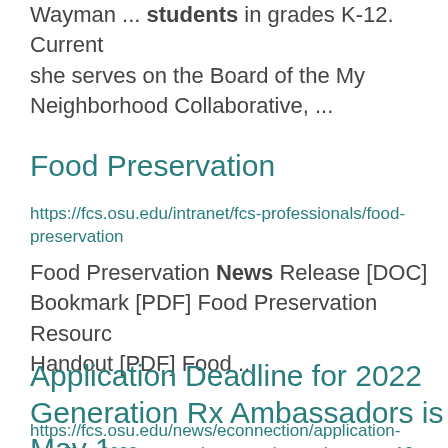Wayman ... students in grades K-12. Currently she serves on the Board of the My Neighborhood Collaborative, ...
Food Preservation
https://fcs.osu.edu/intranet/fcs-professionals/food-preservation
Food Preservation News Release [DOC] Bookmark [PDF] Food Preservation Resource Handout [PDF] Food ...
Application Deadline for 2022 Generation Rx Ambassadors is May 1
https://fcs.osu.edu/news/econnection/application-deadline-2022-generation-rx-ambassodors-may-13